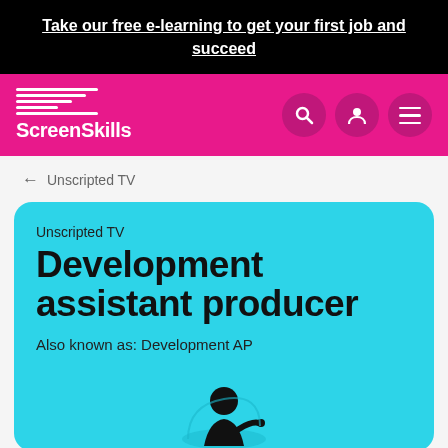Take our free e-learning to get your first job and succeed
[Figure (logo): ScreenSkills logo with white horizontal lines and wordmark on pink background, with search, user, and menu icons]
← Unscripted TV
Unscripted TV
Development assistant producer
Also known as: Development AP
[Figure (illustration): Black silhouette illustration of a person working at a desk]